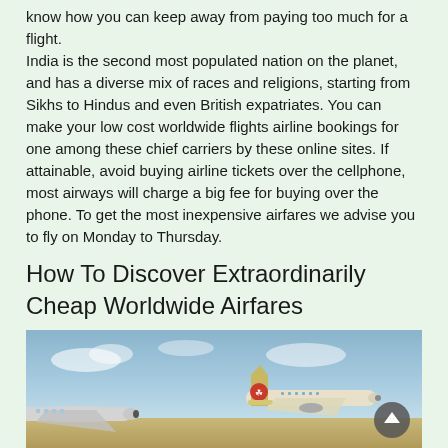know how you can keep away from paying too much for a flight.
India is the second most populated nation on the planet, and has a diverse mix of races and religions, starting from Sikhs to Hindus and even British expatriates. You can make your low cost worldwide flights airline bookings for one among these chief carriers by these online sites. If attainable, avoid buying airline tickets over the cellphone, most airways will charge a big fee for buying over the phone. To get the most inexpensive airfares we advise you to fly on Monday to Thursday.
How To Discover Extraordinarily Cheap Worldwide Airfares
[Figure (photo): Photograph of airplanes on a runway or in flight, with a blue sky background. Two aircraft are visible, one showing an airline tail logo (appears to be Iran Air with a bird/huma symbol). A dark circular scroll-to-top button is visible in the lower right of the image.]